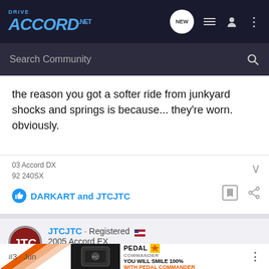DriveAccord.net
the reason you got a softer ride from junkyard shocks and springs is because... they're worn. obviously.
03 Accord DX
92 240SX
DARKART and JTCJTC
JTCJTC · Registered
2005 Accord EX
Joined Jan 9, 2020 · 134 Posts
[Figure (infographic): Pedal Commander advertisement banner: orange racing stripes on left, device image in center, text YOU WILL SMILE 100% WITH PEDAL COMMANDER on right]
#3 · Jun